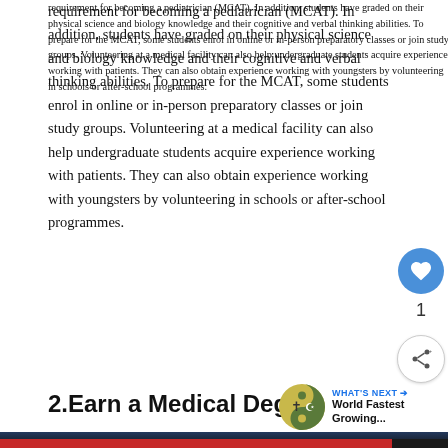requirement for becoming a pediatrician (MCAT). In addition, students have graded on their physical science and biology knowledge and their cognitive and verbal thinking abilities. To prepare for the MCAT, some students enrol in online or in-person preparatory classes or join study groups. Volunteering at a medical facility can also help undergraduate students acquire experience working with patients. They can also obtain experience working with youngsters by volunteering in schools or after-school programmes.
2.Earn a Medical Degree
[Figure (other): Like/heart button (blue circle with heart icon) and share button below it, with count of 1 between them, positioned on the right side]
[Figure (infographic): WHAT'S NEXT arrow label with yin-yang style circular icon and text 'World Fastest Growing...']
[Figure (photo): Partial photo of medical/clinical setting visible at bottom of page]
[Figure (screenshot): Advertisement banner: Text LiveLongDC to 888-811 to find naloxone near you.]